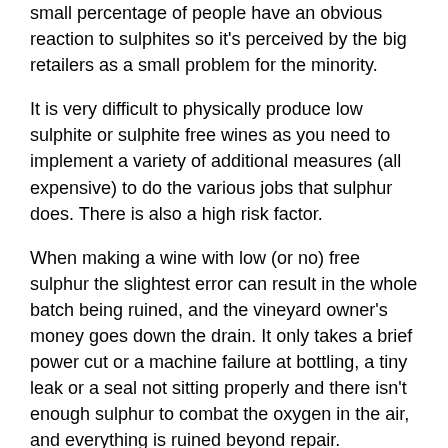small percentage of people have an obvious reaction to sulphites so it's perceived by the big retailers as a small problem for the minority.
It is very difficult to physically produce low sulphite or sulphite free wines as you need to implement a variety of additional measures (all expensive) to do the various jobs that sulphur does. There is also a high risk factor.
When making a wine with low (or no) free sulphur the slightest error can result in the whole batch being ruined, and the vineyard owner's money goes down the drain. It only takes a brief power cut or a machine failure at bottling, a tiny leak or a seal not sitting properly and there isn't enough sulphur to combat the oxygen in the air, and everything is ruined beyond repair.
A small number of dedicated perfectionists make these low sulphite or sulphite free wines with passion. By its nature it has to be on a small scale with hand picking and hand